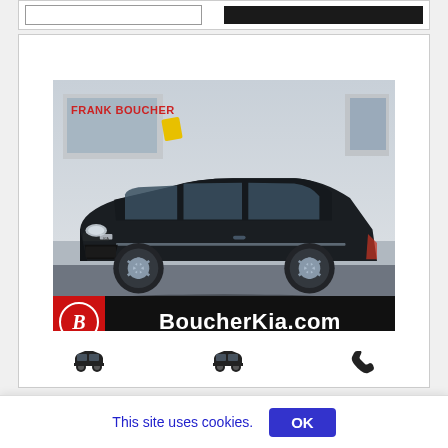[Figure (photo): Dark Kia Soul compact car photographed at Frank Boucher dealership. The car is black/dark gray, parked in front of the dealership building. The bottom of the image shows a black banner with the Boucher logo (red square with white B oval) and BoucherKia.com in white text.]
BoucherKia.com
This site uses cookies.
OK